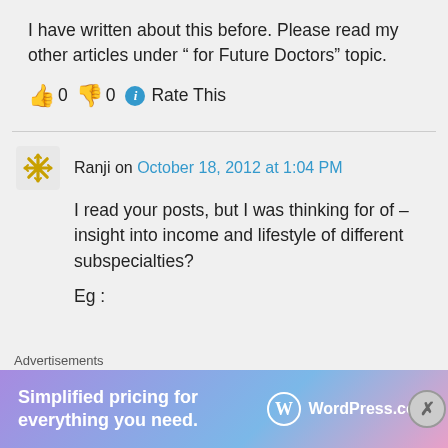I have written about this before. Please read my other articles under " for Future Doctors" topic.
👍 0 👎 0 ℹ Rate This
Ranji on October 18, 2012 at 1:04 PM
I read your posts, but I was thinking for of – insight into income and lifestyle of different subspecialties?
Eg :
[Figure (screenshot): WordPress.com advertisement banner: 'Simplified pricing for everything you need.' with WordPress.com logo]
Advertisements